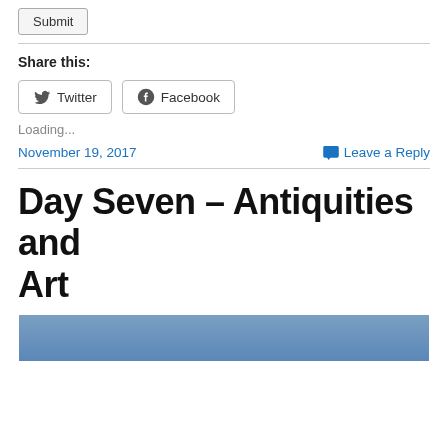Submit
Share this:
[Figure (other): Twitter and Facebook share buttons]
Loading...
November 19, 2017
Leave a Reply
Day Seven – Antiquities and Art
[Figure (photo): Blue/sky colored image strip at bottom of page]